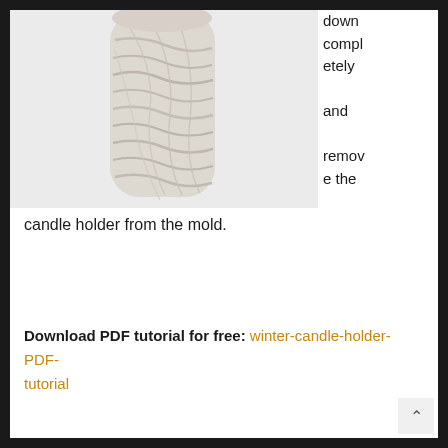[Figure (photo): A cylindrical candle holder with a woven/wrapped yarn or twine texture in a light cream/beige color, photographed against a light gray background.]
down completely and remove the candle holder from the mold.
Download PDF tutorial for free: winter-candle-holder-PDF-tutorial